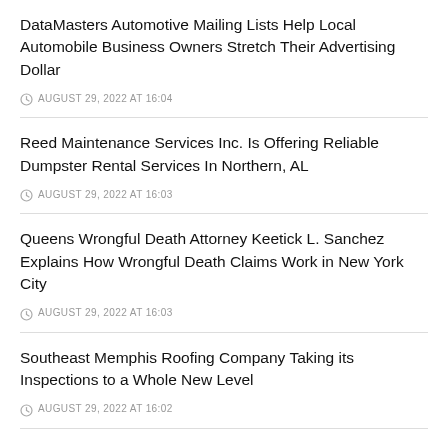DataMasters Automotive Mailing Lists Help Local Automobile Business Owners Stretch Their Advertising Dollar
AUGUST 29, 2022 AT 16:04
Reed Maintenance Services Inc. Is Offering Reliable Dumpster Rental Services In Northern, AL
AUGUST 29, 2022 AT 16:03
Queens Wrongful Death Attorney Keetick L. Sanchez Explains How Wrongful Death Claims Work in New York City
AUGUST 29, 2022 AT 16:03
Southeast Memphis Roofing Company Taking its Inspections to a Whole New Level
AUGUST 29, 2022 AT 16:02
Select Holistic Dental Center Di...